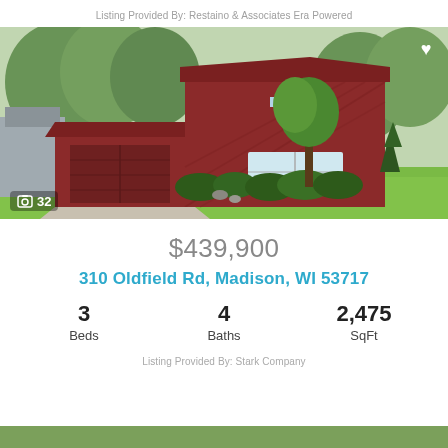Listing Provided By: Restaino & Associates Era Powered
[Figure (photo): Exterior photo of a red/maroon split-level house with attached two-car garage, green lawn, shrubs, and trees. Photo count overlay shows camera icon and '32'.]
$439,900
310 Oldfield Rd, Madison, WI 53717
| Beds | Baths | SqFt |
| --- | --- | --- |
| 3 | 4 | 2,475 |
Listing Provided By: Stark Company